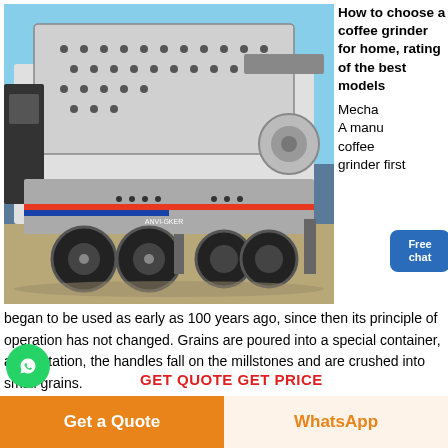[Figure (photo): Large mobile industrial crushing/screening machine (heavy equipment on wheels) photographed outdoors against a blue sky. The machine is white, black and gray with large tires.]
How to choose a coffee grinder for home, rating of the best models
Mechanical A manual coffee grinder first began to be used as early as 100 years ago, since then its principle of operation has not changed. Grains are poured into a special container, after rotation, the handles fall on the millstones and are crushed into small grains.
GET QUOTE  GET PRICE
Get a Quote
WhatsApp